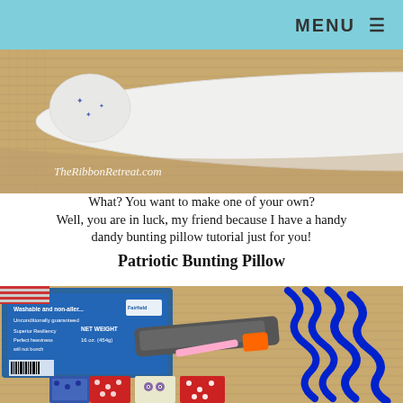MENU ≡
[Figure (photo): Photo of a white pillow with blue prints on a burlap background, with watermark text 'TheRibbonRetreat.com']
What? You want to make one of your own? Well, you are in luck, my friend because I have a handy dandy bunting pillow tutorial just for you!
Patriotic Bunting Pillow
[Figure (photo): Photo of crafting supplies including Fairfield stuffing, scissors/cutting tool with orange handle, blue curly ribbon, and colorful patterned fabric pieces on burlap background]